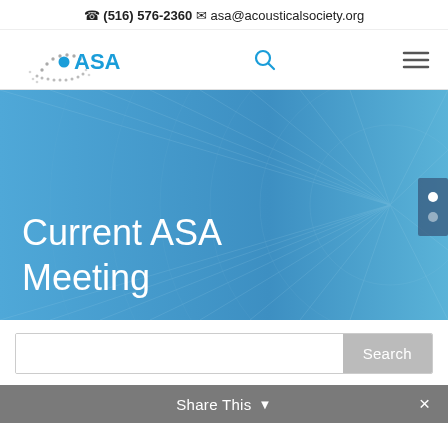(516) 576-2360  asa@acousticalsociety.org
[Figure (logo): ASA (Acoustical Society of America) logo with sound wave dots pattern and teal ASA text]
[Figure (screenshot): Hero banner with blue gradient background and radial grid pattern, containing large white text: Current ASA Meeting. Slider navigation dots on right side.]
Current ASA Meeting
Search
Share This